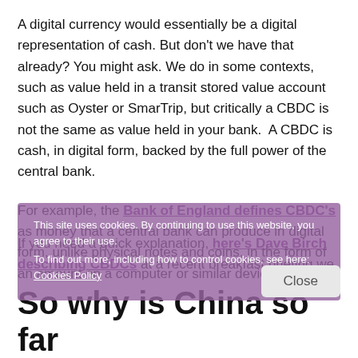A digital currency would essentially be a digital representation of cash. But don't we have that already? You might ask. We do in some contexts, such as value held in a transit stored value account such as Oyster or SmarTrip, but critically a CBDC is not the same as value held in your bank.  A CBDC is cash, in digital form, backed by the full power of the central bank.
For example, the Bank of England defines CBDC's as money that a central bank can produce in digital form, unlike physical notes and coins, in the form of an amount on a computer or similar device.
If you need a quick explanation, here's Dave Birch describing CBDCs at a recent breakfast briefing we held in the City of London:
This site uses cookies. By continuing to use this website, you agree to their use. To find out more, including how to control cookies, see here: Cookies Policy
So why is China so far